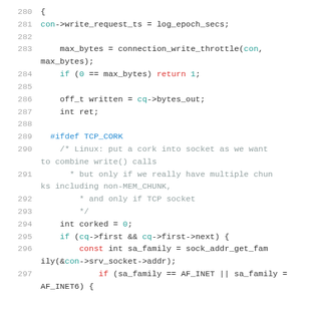[Figure (screenshot): Source code listing lines 280-297 in C, showing socket write throttle logic with TCP_CORK conditional compilation]